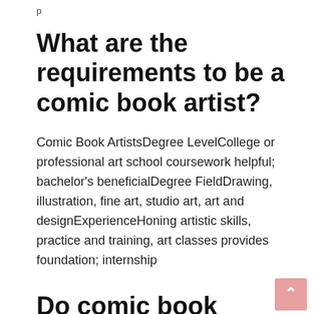p
What are the requirements to be a comic book artist?
Comic Book ArtistsDegree LevelCollege or professional art school coursework helpful; bachelor's beneficialDegree FieldDrawing, illustration, fine art, studio art, art and designExperienceHoning artistic skills, practice and training, art classes provides foundation; internship
Do comic book artists use references?